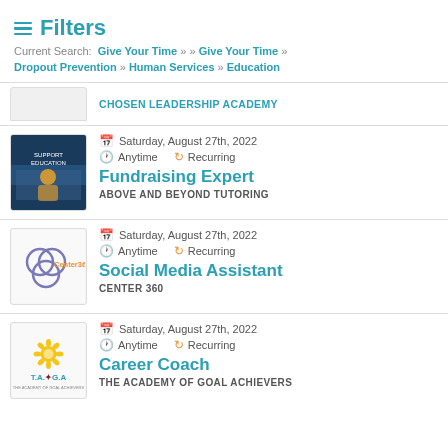≡ Filters
Current Search: Give Your Time » » Give Your Time » Dropout Prevention » Human Services » Education
CHOSEN LEADERSHIP ACADEMY
Saturday, August 27th, 2022 | Anytime | Recurring | Fundraising Expert | ABOVE AND BEYOND TUTORING
Saturday, August 27th, 2022 | Anytime | Recurring | Social Media Assistant | CENTER 360
Saturday, August 27th, 2022 | Anytime | Recurring | Career Coach | THE ACADEMY OF GOAL ACHIEVERS